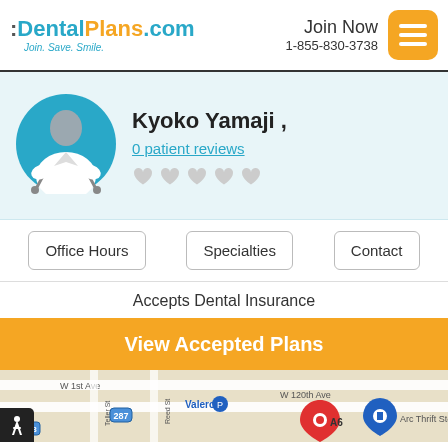:DentalPlans.com Join. Save. Smile. | Join Now 1-855-830-3738
Kyoko Yamaji ,
0 patient reviews
[Figure (illustration): Dentist avatar illustration in teal circle]
Office Hours
Specialties
Contact
Accepts Dental Insurance
View Accepted Plans
[Figure (map): Google Maps screenshot showing W 1st Ave, W 120th Ave, Valero, Arc Thrift Store, road 287, road 128, Reed St, Teller St, with location pins A6 and a blue shopping pin]